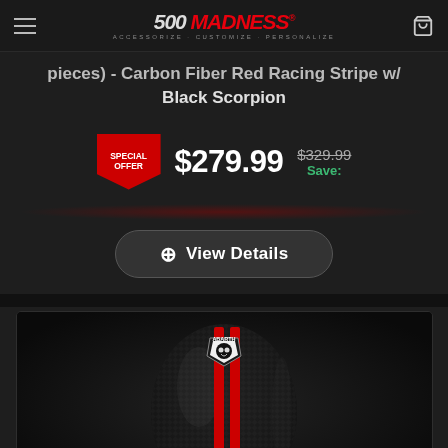500 MADNESS | ACCESSORIZE · CUSTOMIZE · PERSONALIZE
pieces) - Carbon Fiber Red Racing Stripe w/ Black Scorpion
$279.99  $329.99  Save:  SPECIAL OFFER
View Details
[Figure (photo): Close-up of a carbon fiber gear shift knob with red racing stripes running vertically and an Abarth scorpion logo badge at the top]